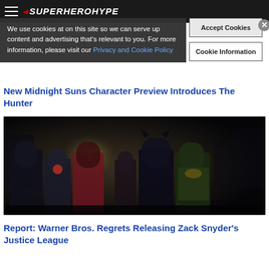SuperHeroHype
We use cookies at on this site so we can serve up content and advertising that's relevant to you. For more information, please visit our Privacy and Cookie Policy
New Midnight Suns Character Preview Introduces The Hunter
[Figure (photo): Justice League group photo in dark tones showing Superman, Cyborg, Wonder Woman, The Flash, Batman, and Aquaman in costume]
Report: Warner Bros. Regrets Releasing Zack Snyder's Justice League